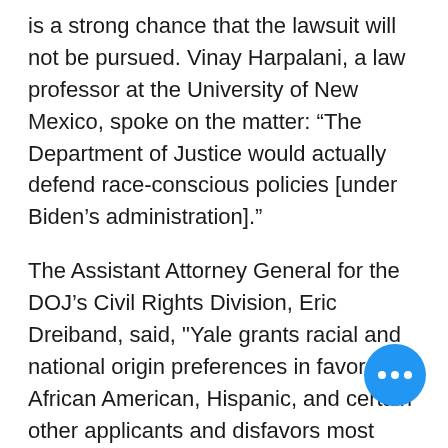is a strong chance that the lawsuit will not be pursued. Vinay Harpalani, a law professor at the University of New Mexico, spoke on the matter: “The Department of Justice would actually defend race-conscious policies [under Biden’s administration].”
The Assistant Attorney General for the DOJ’s Civil Rights Division, Eric Dreiband, said, "Yale grants racial and national origin preferences in favor of African American, Hispanic, and certain other applicants and disfavors most Asian American and white applicants." The DOJ’s report said Asian-American and white applicants had a one-tenth chance of admission to one-fourth chances of African-American students who had similar academic credentials. Ho[wever,] the report’s conclusions were made before